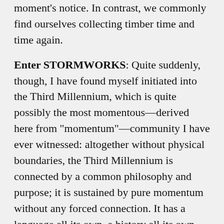moment's notice. In contrast, we commonly find ourselves collecting timber time and time again.
Enter STORMWORKS: Quite suddenly, though, I have found myself initiated into the Third Millennium, which is quite possibly the most momentous—derived here from "momentum"—community I have ever witnessed: altogether without physical boundaries, the Third Millennium is connected by a common philosophy and purpose; it is sustained by pure momentum without any forced connection. It has a language all its own, a history all its own (our fledgling membership is proceeded by decades of experiences before us), and a philosophy that is in stark contrast to the normal, tepid maxims fed to schoolchildren. And the originality and driving force behind this language, history, and philosophy create a legacy of energy so sweeping that those dedicated to membership are swept along—in effect, "Stormworks" is